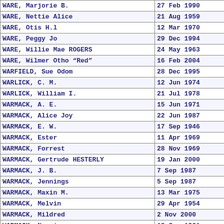| Name | Date |
| --- | --- |
| WARE, Marjorie B. | 27 Feb 1990 |
| WARE, Nettie Alice | 21 Aug 1959 |
| WARE, Otis H.l | 12 Mar 1970 |
| WARE, Peggy Jo | 29 Dec 1994 |
| WARE, Willie Mae ROGERS | 24 May 1963 |
| WARE, Wilmer Otho “Red” | 16 Feb 2004 |
| WARFIELD, Sue Odom | 28 Dec 1995 |
| WARLICK, C. M. | 12 Jun 1974 |
| WARLICK, William I. | 21 Jul 1978 |
| WARMACK, A. E. | 15 Jun 1971 |
| WARMACK, Alice Joy | 22 Jun 1987 |
| WARMACK, E. W. | 17 Sep 1946 |
| WARMACK, Ester | 11 Apr 1969 |
| WARMACK, Forrest | 28 Nov 1969 |
| WARMACK, Gertrude HESTERLY | 19 Jan 2000 |
| WARMACK, J. B. | 7 Sep 1987 |
| WARMACK, Jennings | 5 Sep 1987 |
| WARMACK, Maxin M. | 13 Mar 1975 |
| WARMACK, Melvin | 29 Apr 1954 |
| WARMACK, Mildred | 2 Nov 2000 |
| WARMACK, Nannie | 18 Sep 1961 |
| WARNER, Henry David | 10 Feb 1964 |
| WARNER, Minnie O. | 4 Mar 1998 |
| WARNER, Robert W. | 5 Apr 1994 |
| WARNIX, Margaret OWEN | 4 Sep 2000 |